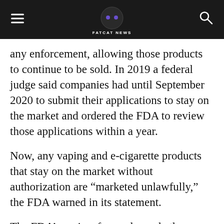FATCAT NEWS
any enforcement, allowing those products to continue to be sold. In 2019 a federal judge said companies had until September 2020 to submit their applications to stay on the market and ordered the FDA to review those applications within a year.
Now, any vaping and e-cigarette products that stay on the market without authorization are “marketed unlawfully,” the FDA warned in its statement.
The FDA’s review focused on whether a vaping or e-cigarette product had enough benefit to adult smokers — like helping adults smokers quit cigarettes — to outweigh the risk of attracting kids and teens...